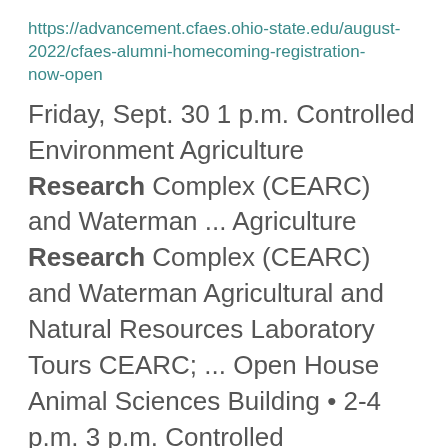https://advancement.cfaes.ohio-state.edu/august-2022/cfaes-alumni-homecoming-registration-now-open
Friday, Sept. 30 1 p.m. Controlled Environment Agriculture Research Complex (CEARC) and Waterman ... Agriculture Research Complex (CEARC) and Waterman Agricultural and Natural Resources Laboratory Tours CEARC; ... Open House Animal Sciences Building • 2-4 p.m. 3 p.m. Controlled Environment Agriculture Research ...
Who in the world is the CFAES Alumni Society Board?